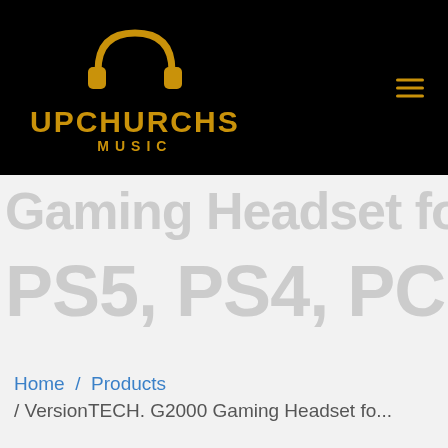[Figure (logo): Upchurchs Music logo with golden headphones icon containing bar chart symbols, and text UPCHURCHS MUSIC in gold on black background]
Gaming Headset for PS5, PS4, PC, Xbox...
Home / Products / VersionTECH. G2000 Gaming Headset fo...